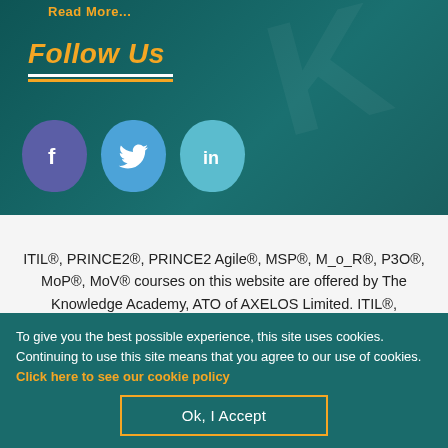Read More...
Follow Us
[Figure (illustration): Three social media icons: Facebook (purple), Twitter (blue), LinkedIn (teal), each in a teardrop/heart shape]
ITIL®, PRINCE2®, PRINCE2 Agile®, MSP®, M_o_R®, P3O®, MoP®, MoV® courses on this website are offered by The Knowledge Academy, ATO of AXELOS Limited. ITIL®, PRINCE2®, PRINCE2
To give you the best possible experience, this site uses cookies. Continuing to use this site means that you agree to our use of cookies. Click here to see our cookie policy
Ok, I Accept
[Figure (illustration): Bottom navigation bar with email, search, cart, and phone icons on orange background]